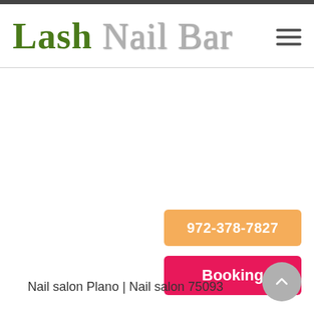Lash Nail Bar
972-378-7827
Booking
Nail salon Plano | Nail salon 75093